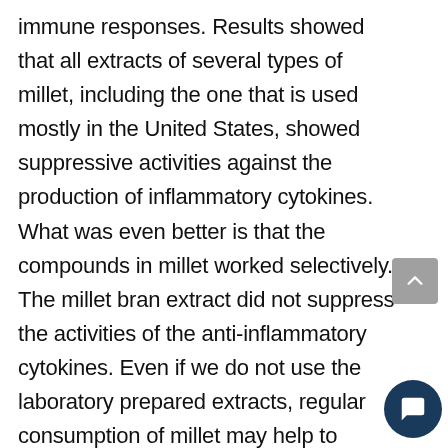immune responses. Results showed that all extracts of several types of millet, including the one that is used mostly in the United States, showed suppressive activities against the production of inflammatory cytokines. What was even better is that the compounds in millet worked selectively. The millet bran extract did not suppress the activities of the anti-inflammatory cytokines. Even if we do not use the laboratory prepared extracts, regular consumption of millet may help to curtail inflammation that is commonly seen in obesity, prediabetes, diabetes, and other chronic diseases.11